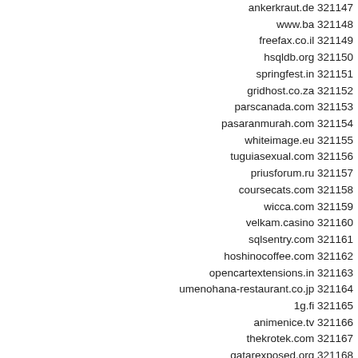ankerkraut.de 321147
www.ba 321148
freefax.co.il 321149
hsqldb.org 321150
springfest.in 321151
gridhost.co.za 321152
parscanada.com 321153
pasaranmurah.com 321154
whiteimage.eu 321155
tuguiasexual.com 321156
priusforum.ru 321157
coursecats.com 321158
wicca.com 321159
velkam.casino 321160
sqlsentry.com 321161
hoshinocoffee.com 321162
opencartextensions.in 321163
umenohana-restaurant.co.jp 321164
1g.fi 321165
animenice.tv 321166
thekrotek.com 321167
qatarexposed.org 321168
carnivoreclub.co 321169
partadax.pl 321170
link.kg 321171
worldticketsource.com 321172
esc-grossiste.fr 321173